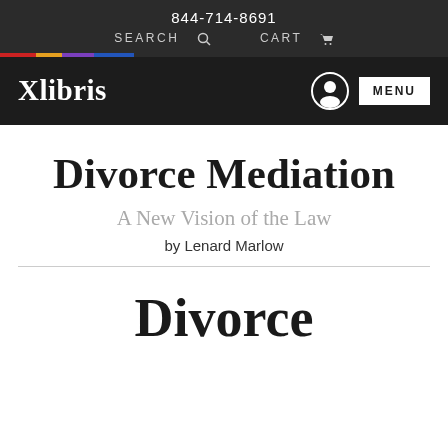844-714-8691
SEARCH  CART
[Figure (logo): Xlibris logo with user icon and MENU button on dark background]
Divorce Mediation
A New Vision of the Law
by Lenard Marlow
Divorce